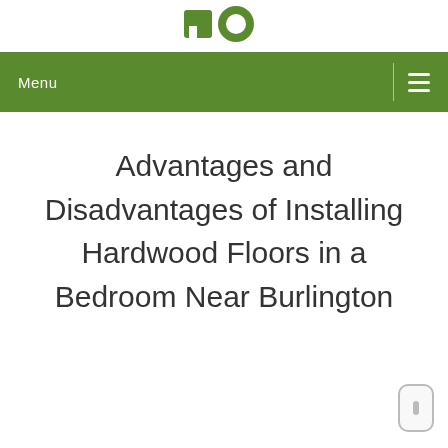[Figure (logo): Green logo mark with letter shapes in top left corner of page header]
Menu
Advantages and Disadvantages of Installing Hardwood Floors in a Bedroom Near Burlington